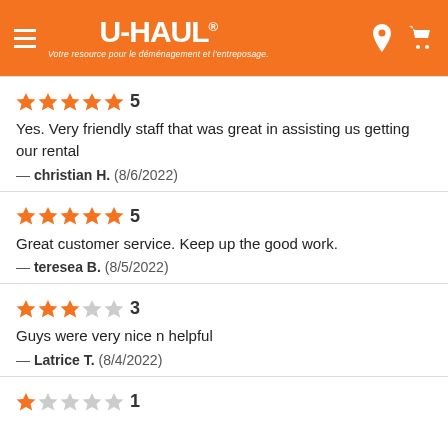U-HAUL® — Votre resource pour le déménagement et l'entreposage.
★★★★★ 5
Yes. Very friendly staff that was great in assisting us getting our rental
— christian H.  (8/6/2022)
★★★★★ 5
Great customer service. Keep up the good work.
— teresea B.  (8/5/2022)
★★★☆☆ 3
Guys were very nice n helpful
— Latrice T.  (8/4/2022)
★☆☆☆☆ 1